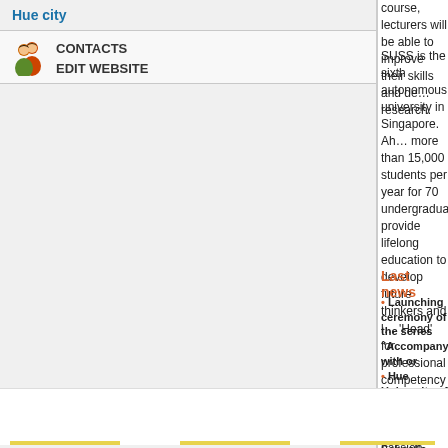course, lecturers will be able to improve their skills and develop their research.
SUSS is the sixth autonomous university in Singapore. Ah... more than 15,000 students per year for 70 undergraduate... provide lifelong education to develop future thinkers and leaders with 'Head' for professional competency with applied knowledge... 'Habit' for passion towards lifelong learning.
Last news
Launching ceremony of the series "Accompanying with or...
Hue University of Education receive SEMEO School's Netw...
Welcome 1116 freshmen of the new academic year (10/11/...
Meeting with representative of INSA Group in Vietnam (09/...
Hue University of Education organized opening ceremony...
University of Education, Hue University celebrates 10th an... Sciences Centre Val de Loire, France (INSA Center Val de Lo...
Nakhon Phanom University, Thailand visited and worked w...
Promote cooperation with Hokkaido University of Educatio...
JAIST will co-operate with University of Education, Hue Un... Technology (11/10/2018)
Introduction of the Draft "Geography Education Program"...
Opening ceremony of Autumn School on Artificial Intellige... Computer Science 2018 (03/10/2018)
Opening ceremony for the academic year 2018 - 2019 (03/1...
The 5th International Conference on Language, Society, an...
Paris Saclay University, France and University of Educatio...
Working in INSA Centre Val de Loire, France (10/11/2017)
Hue city
CONTACTS
EDIT WEBSITE
Visitors
4924
Page processing time is 0.0187s
Copyright © 2008 - HUE UNIVER...
Address: 34 Le Loi st, Hue city, Vietnam...
Email: adm...